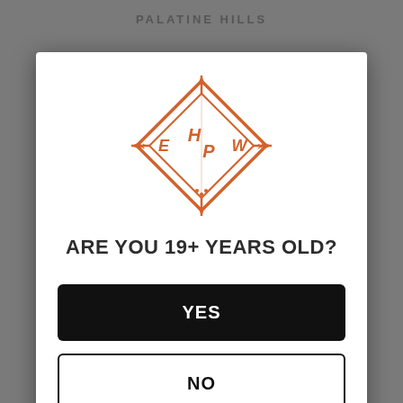[Figure (logo): Palatine Hills Winery diamond-shaped logo with letters E, H/P, W and arrow/cross motifs in orange]
ARE YOU 19+ YEARS OLD?
YES
NO